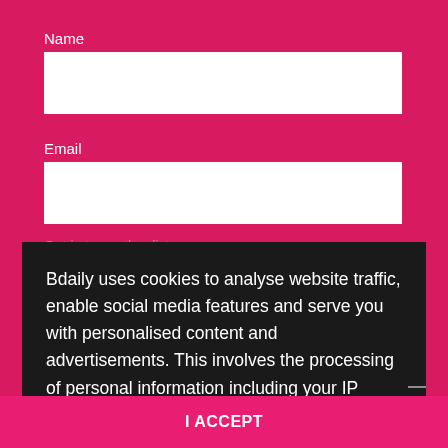Name
Email
Opt in to another list
Bdaily uses cookies to analyse website traffic, enable social media features and serve you with personalised content and advertisements. This involves the processing of personal information including your IP address and browsing behaviour. For more information, please see our Cookies Policy
I agree to receive my email and address and I can unsubscribe at any time.
I ACCEPT